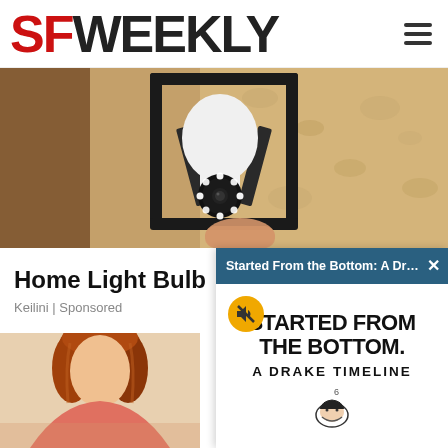SF WEEKLY
[Figure (photo): Close-up photo of a security camera light bulb installed in an outdoor wall lamp fixture, beige stucco wall background]
Home Light Bulb
Keilini | Sponsored
[Figure (screenshot): Popup overlay showing 'Started From the Bottom: A Drake ...' header in teal, with 'STARTED FROM THE BOTTOM A DRAKE TIMELINE' title text and Drake illustration]
[Figure (photo): Partial bottom-left image of a woman with red/auburn hair]